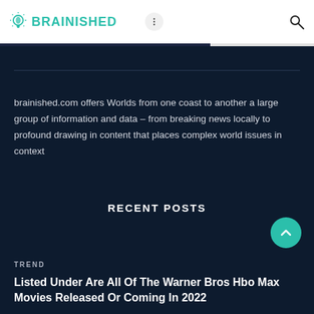BRAINISHED
brainished.com offers Worlds from one coast to another a large group of information and data – from breaking news locally to profound drawing in content that places complex world issues in context
RECENT POSTS
TREND
Listed Under Are All Of The Warner Bros Hbo Max Movies Released Or Coming In 2022